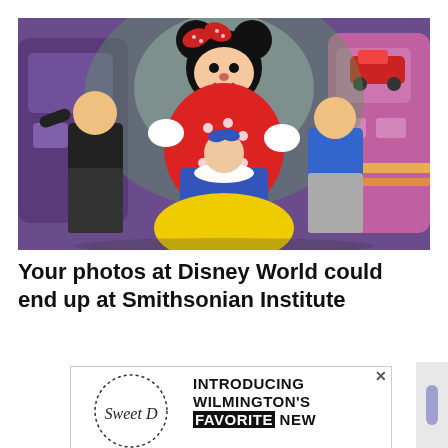[Figure (photo): Three children posing with Minnie Mouse character at Disney World. A girl dressed as Snow White stands in the center, flanked by two boys. Colorful animated background with purple and pink bus/vehicle shapes.]
Your photos at Disney World could end up at Smithsonian Institute
[Figure (other): Advertisement banner: logo area on the left with a circular dotted border script logo reading 'Sweet D' (partially visible). Text on right reads: INTRODUCING WILMINGTON'S FAVORITE NEW with 'FAVORITE' highlighted in black. Close button (X) in upper right.]